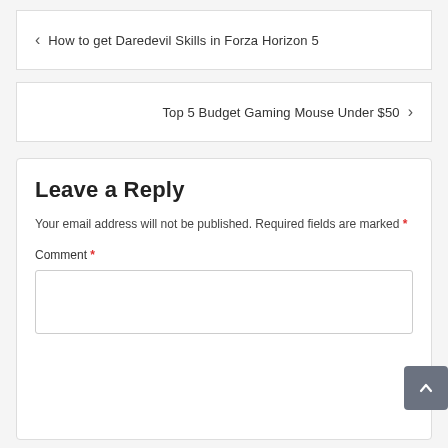< How to get Daredevil Skills in Forza Horizon 5
Top 5 Budget Gaming Mouse Under $50 >
Leave a Reply
Your email address will not be published. Required fields are marked *
Comment *